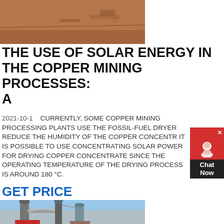[Figure (photo): Aerial/ground-level photo of a copper mining site with red/orange soil and equipment visible in the background]
THE USE OF SOLAR ENERGY IN THE COPPER MINING PROCESSES: A
2021-10-1   CURRENTLY, SOME COPPER MINING PROCESSING PLANTS USE THE FOSSIL-FUEL DRYER REDUCE THE HUMIDITY OF THE COPPER CONCENTR IT IS POSSIBLE TO USE CONCENTRATING SOLAR POWER FOR DRYING COPPER CONCENTRATE SINCE THE OPERATING TEMPERATURE OF THE DRYING PROCESS IS AROUND 180 °C.
GET PRICE
[Figure (photo): Industrial dryer/processing equipment with tall cylindrical towers and pipes against a blue sky background]